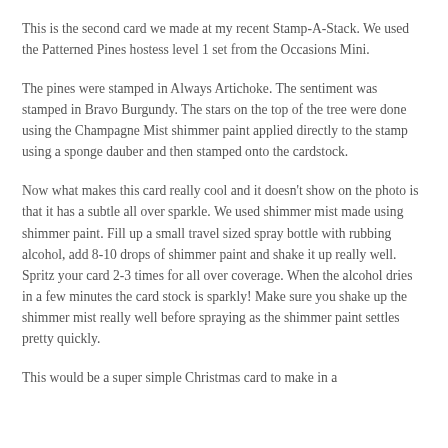This is the second card we made at my recent Stamp-A-Stack. We used the Patterned Pines hostess level 1 set from the Occasions Mini.
The pines were stamped in Always Artichoke. The sentiment was stamped in Bravo Burgundy. The stars on the top of the tree were done using the Champagne Mist shimmer paint applied directly to the stamp using a sponge dauber and then stamped onto the cardstock.
Now what makes this card really cool and it doesn't show on the photo is that it has a subtle all over sparkle. We used shimmer mist made using shimmer paint. Fill up a small travel sized spray bottle with rubbing alcohol, add 8-10 drops of shimmer paint and shake it up really well. Spritz your card 2-3 times for all over coverage. When the alcohol dries in a few minutes the card stock is sparkly! Make sure you shake up the shimmer mist really well before spraying as the shimmer paint settles pretty quickly.
This would be a super simple Christmas card to make in a